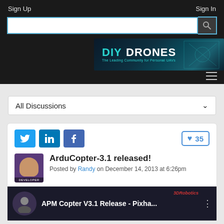Sign Up   Sign In
[Figure (screenshot): DIY Drones website header with search bar and logo banner]
All Discussions
ArduCopter-3.1 released! Posted by Randy on December 14, 2013 at 6:26pm
[Figure (screenshot): Video thumbnail: APM Copter V3.1 Release - Pixha...]